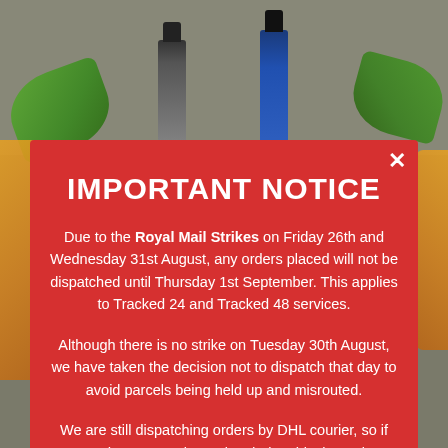[Figure (screenshot): Background showing product bottles and decorative leaves with a muted overlay]
IMPORTANT NOTICE
Due to the Royal Mail Strikes on Friday 26th and Wednesday 31st August, any orders placed will not be dispatched until Thursday 1st September. This applies to Tracked 24 and Tracked 48 services.
Although there is no strike on Tuesday 30th August, we have taken the decision not to dispatch that day to avoid parcels being held up and misrouted.
We are still dispatching orders by DHL courier, so if you need your parcel to arrive during this time, please choose DHL Express Delivery at checkout.
We're sorry for any inconvenience caused.
working with a French producer of natural extracts which opened his mind to the wonders of natural oils. He moved to New York and for over 20 years